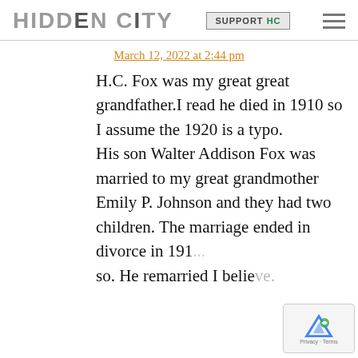HIDDEN CITY | SUPPORT HC
March 12, 2022 at 2:44 pm
H.C. Fox was my great great grandfather.I read he died in 1910 so I assume the 1920 is a typo. His son Walter Addison Fox was married to my great grandmother Emily P. Johnson and they had two children. The marriage ended in divorce in 19[...]so. He remarried I belie[ve.]